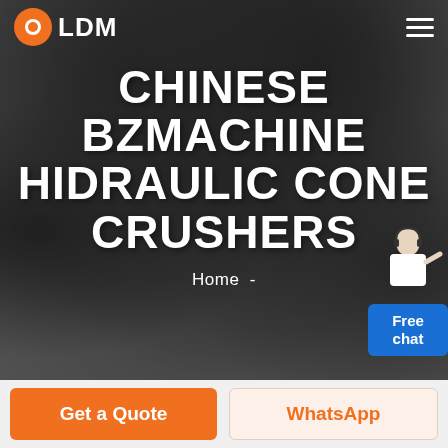[Figure (screenshot): LDM company logo with orange circular icon and white LDM text on dark hero background with hamburger menu icon on the right]
CHINESE BZMACHINE HIDRAULIC CONE CRUSHERS
Home  -
[Figure (illustration): Free chat widget with person illustration and blue chat bubble showing 'Free chat']
Get a Quote
WhatsApp